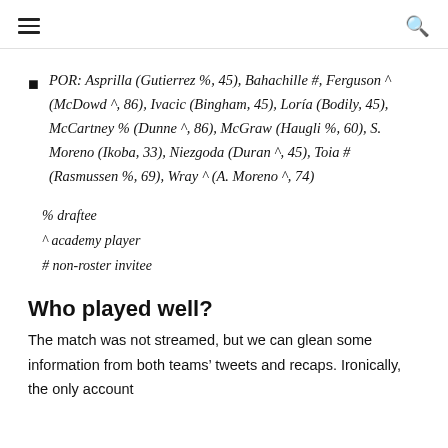≡  🔍
POR: Asprilla (Gutierrez %, 45), Bahachille #, Ferguson ^ (McDowd ^, 86), Ivacic (Bingham, 45), Loría (Bodily, 45), McCartney % (Dunne ^, 86), McGraw (Haugli %, 60), S. Moreno (Ikoba, 33), Niezgoda (Duran ^, 45), Toia # (Rasmussen %, 69), Wray ^ (A. Moreno ^, 74)
% draftee
^ academy player
# non-roster invitee
Who played well?
The match was not streamed, but we can glean some information from both teams' tweets and recaps. Ironically, the only account